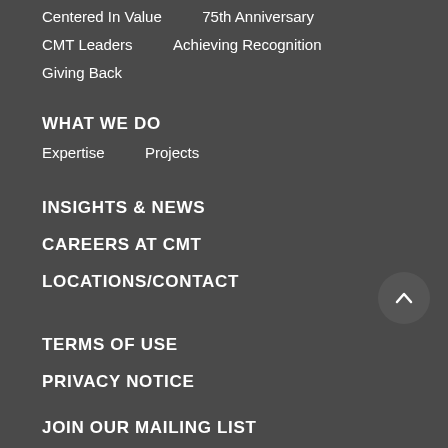Centered In Value    75th Anniversary
CMT Leaders    Achieving Recognition
Giving Back
WHAT WE DO
Expertise    Projects
INSIGHTS & NEWS
CAREERS AT CMT
LOCATIONS/CONTACT
TERMS OF USE
PRIVACY NOTICE
JOIN OUR MAILING LIST